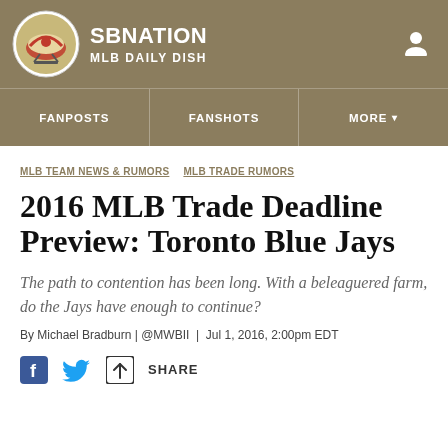SBNATION MLB DAILY DISH
FANPOSTS  FANSHOTS  MORE
MLB TEAM NEWS & RUMORS  MLB TRADE RUMORS
2016 MLB Trade Deadline Preview: Toronto Blue Jays
The path to contention has been long. With a beleaguered farm, do the Jays have enough to continue?
By Michael Bradburn | @MWBII | Jul 1, 2016, 2:00pm EDT